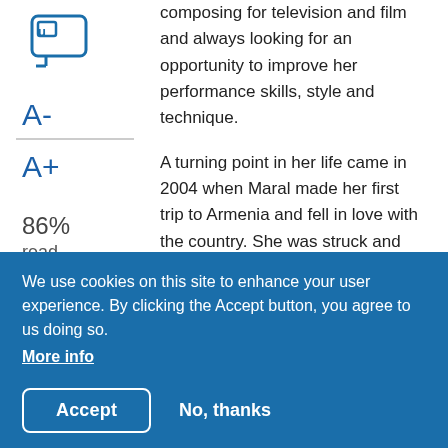composing for television and film and always looking for an opportunity to improve her performance skills, style and technique.
A turning point in her life came in 2004 when Maral made her first trip to Armenia and fell in love with the country. She was struck and saddened by the gloominess and poverty that pervaded the country, even more than a decade after independence from Soviet rule, and was drawn to Armenian artists in particular and felt a connection to the national pain they expressed in their art. She returned with many beautiful
We use cookies on this site to enhance your user experience. By clicking the Accept button, you agree to us doing so. More info
Accept
No, thanks